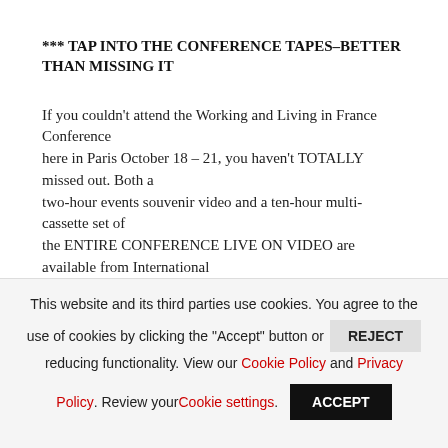*** TAP INTO THE CONFERENCE TAPES–BETTER THAN MISSING IT
If you couldn't attend the Working and Living in France Conference here in Paris October 18 – 21, you haven't TOTALLY missed out. Both a two-hour events souvenir video and a ten-hour multi-cassette set of the ENTIRE CONFERENCE LIVE ON VIDEO are available from International Living and Prime Cut Productions in both U.S. format (NTSC) and
This website and its third parties use cookies. You agree to the use of cookies by clicking the "Accept" button or REJECT reducing functionality. View our Cookie Policy and Privacy Policy. Review your Cookie settings. ACCEPT